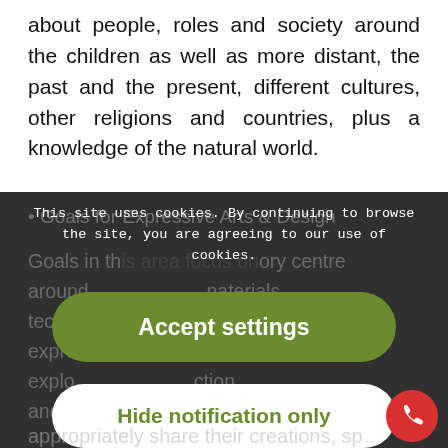about people, roles and society around the children as well as more distant, the past and the present, different cultures, other religions and countries, plus a knowledge of the natural world.
[Figure (screenshot): Cookie consent overlay on a webpage showing educational content. The overlay has a dark semi-transparent background covering the lower portion of the page. It contains a cookie notice text, a green 'Accept settings' button, and a white 'Hide notification only' button. Background text about Goals for Expressive Arts & Design is partially visible. A red phone button is in the bottom right corner.]
appropriately share their creations, sp...